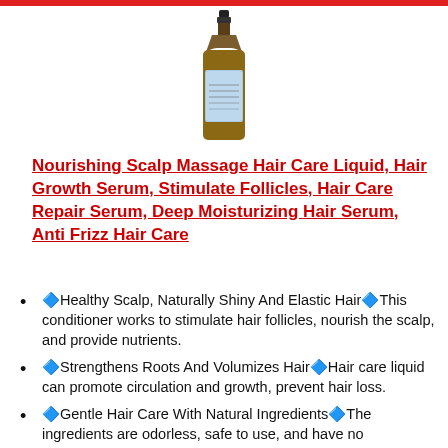[Figure (photo): Amber glass dropper bottle with blue label containing hair care serum]
Nourishing Scalp Massage Hair Care Liquid, Hair Growth Serum, Stimulate Follicles, Hair Care Repair Serum, Deep Moisturizing Hair Serum, Anti Frizz Hair Care
🔷Healthy Scalp, Naturally Shiny And Elastic Hair🔷This conditioner works to stimulate hair follicles, nourish the scalp, and provide nutrients.
🔷Strengthens Roots And Volumizes Hair🔷Hair care liquid can promote circulation and growth, prevent hair loss.
🔷Gentle Hair Care With Natural Ingredients🔷The ingredients are odorless, safe to use, and have no